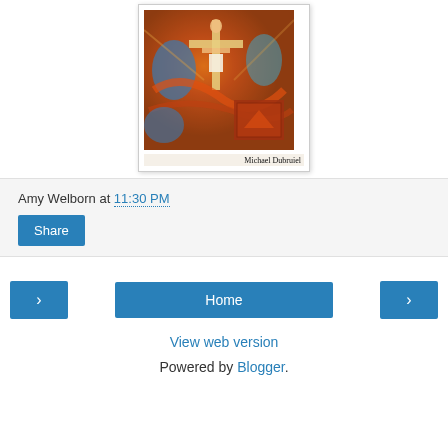[Figure (illustration): Book cover image showing a colorful expressionist painting of a crucifixion scene with warm orange, red, and blue tones. Author name 'Michael Dubruiel' printed at bottom right of cover.]
Amy Welborn at 11:30 PM
Share
Home
View web version
Powered by Blogger.